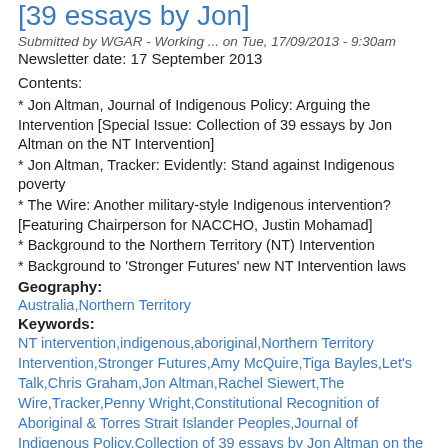[39 essays by Jon]
Submitted by WGAR - Working ... on Tue, 17/09/2013 - 9:30am
Newsletter date: 17 September 2013
Contents:
* Jon Altman, Journal of Indigenous Policy: Arguing the Intervention [Special Issue: Collection of 39 essays by Jon Altman on the NT Intervention]
* Jon Altman, Tracker: Evidently: Stand against Indigenous poverty
* The Wire: Another military-style Indigenous intervention? [Featuring Chairperson for NACCHO, Justin Mohamad]
* Background to the Northern Territory (NT) Intervention
* Background to 'Stronger Futures' new NT Intervention laws
Geography:
Australia,Northern Territory
Keywords:
NT intervention,indigenous,aboriginal,Northern Territory Intervention,Stronger Futures,Amy McQuire,Tiga Bayles,Let's Talk,Chris Graham,Jon Altman,Rachel Siewert,The Wire,Tracker,Penny Wright,Constitutional Recognition of Aboriginal & Torres Strait Islander Peoples,Journal of Indigenous Policy,Collection of 39 essays by Jon Altman on the NT